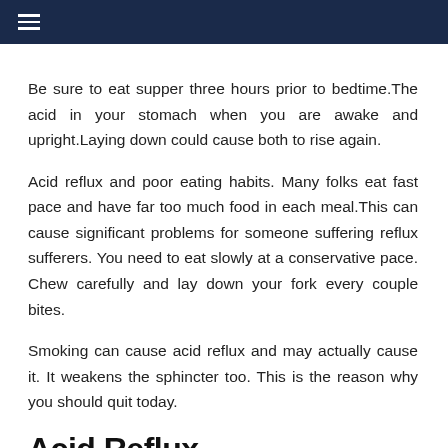≡ (navigation bar)
Be sure to eat supper three hours prior to bedtime.The acid in your stomach when you are awake and upright.Laying down could cause both to rise again.
Acid reflux and poor eating habits. Many folks eat fast pace and have far too much food in each meal.This can cause significant problems for someone suffering reflux sufferers. You need to eat slowly at a conservative pace. Chew carefully and lay down your fork every couple bites.
Smoking can cause acid reflux and may actually cause it. It weakens the sphincter too. This is the reason why you should quit today.
Acid Reflux